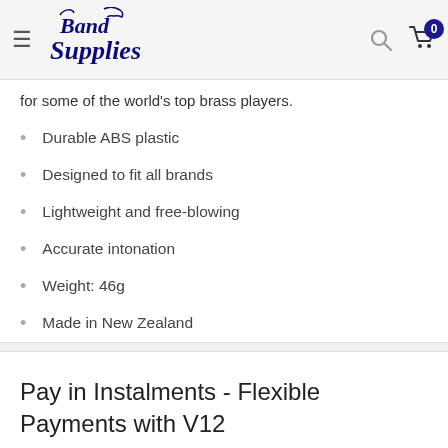Band Supplies
for some of the world's top brass players.
Durable ABS plastic
Designed to fit all brands
Lightweight and free-blowing
Accurate intonation
Weight: 46g
Made in New Zealand
Pay in Instalments - Flexible Payments with V12